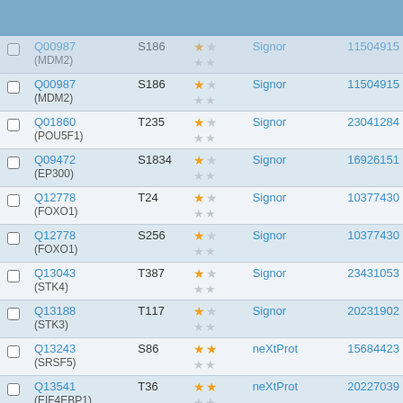|  | Protein | Site | Stars | Source | PMID |
| --- | --- | --- | --- | --- | --- |
| ☐ | Q00987 (MDM2) | S186 | ★☆ ★★ | Signor | 11504915 |
| ☐ | Q00987 (MDM2) | S186 | ★☆ ★★ | Signor | 11504915 |
| ☐ | Q01860 (POU5F1) | T235 | ★☆ ★★ | Signor | 23041284 |
| ☐ | Q09472 (EP300) | S1834 | ★☆ ★★ | Signor | 16926151 |
| ☐ | Q12778 (FOXO1) | T24 | ★☆ ★★ | Signor | 10377430 |
| ☐ | Q12778 (FOXO1) | S256 | ★☆ ★★ | Signor | 10377430 |
| ☐ | Q13043 (STK4) | T387 | ★☆ ★★ | Signor | 23431053 |
| ☐ | Q13188 (STK3) | T117 | ★☆ ★★ | Signor | 20231902 |
| ☐ | Q13243 (SRSF5) | S86 | ★★ ★★ | neXtProt | 15684423 |
| ☐ | Q13541 (EIF4EBP1) | T36 | ★★ ★★ | neXtProt | 20227039 |